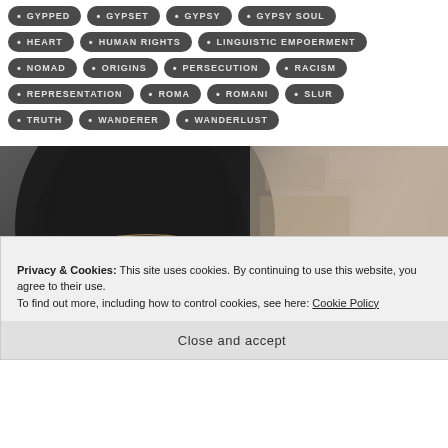GYPPED
GYPSET
GYPSY
GYPSY SOUL
HEART
HUMAN RIGHTS
LINGUISTIC EMPOERMENT
NOMAD
ORIGINS
PERSECUTION
RACISM
REPRESENTATION
ROMA
ROMANI
SLUR
TRUTH
WANDERER
WANDERLUST
[Figure (photo): Close-up photograph of a person wearing a gold chain head jewelry piece with a turquoise stone pendant, against a rocky stone wall background.]
Privacy & Cookies: This site uses cookies. By continuing to use this website, you agree to their use.
To find out more, including how to control cookies, see here: Cookie Policy
Close and accept